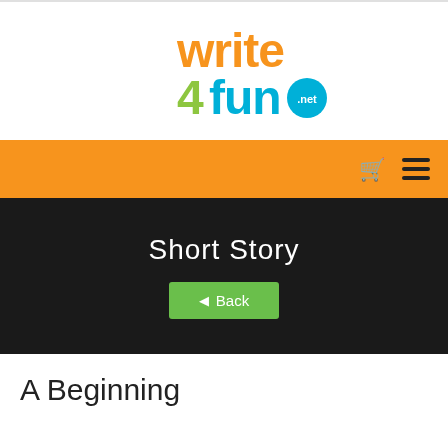[Figure (logo): write4fun.net logo — 'write' in orange, '4' in green, 'fun' in blue, '.net' in white on teal circle]
Short Story
◄ Back
A Beginning